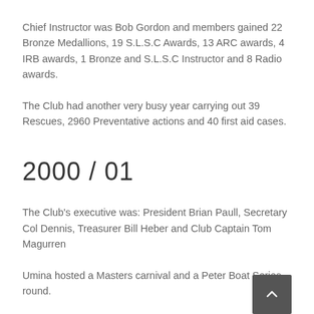Chief Instructor was Bob Gordon and members gained 22 Bronze Medallions, 19 S.L.S.C Awards, 13 ARC awards, 4 IRB awards, 1 Bronze and S.L.S.C Instructor and 8 Radio awards.
The Club had another very busy year carrying out 39 Rescues, 2960 Preventative actions and 40 first aid cases.
2000 / 01
The Club's executive was: President Brian Paull, Secretary Col Dennis, Treasurer Bill Heber and Club Captain Tom Magurren
Umina hosted a Masters carnival and a Peter Boat Series round.
Eddie Garrett was named the N.S.W. Junior Surf Lifesaver